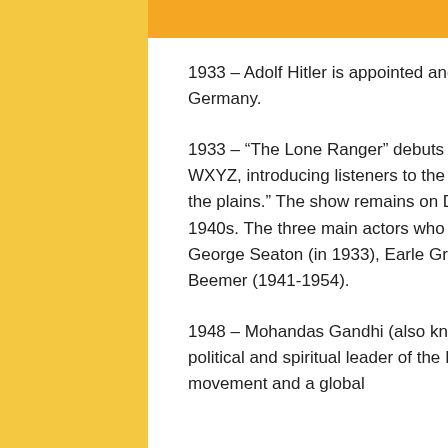1933 – Adolf Hitler is appointed and sworn in as Chancellor of Germany.
1933 – “The Lone Ranger” debuts on Detroit radio station WXYZ, introducing listeners to the legendary “masked rider of the plains.” The show remains on Detroit radio until the mid 1940s. The three main actors who played the Lone Ranger were George Seaton (in 1933), Earle Graser (1933-1941), and Brace Beemer (1941-1954).
1948 – Mohandas Gandhi (also known as Mahatma Gandhi), the political and spiritual leader of the Indian independence movement and a global advocate for nonviolent civil...